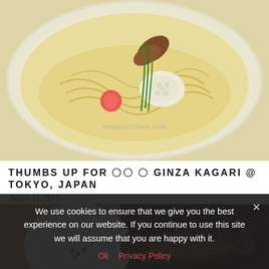[Figure (photo): Overhead view of a white bowl containing ramen noodles in pale yellow broth with garnishes including a pink flower-shaped fish cake, lotus root, mushrooms, and green chives. Watermark reads messykitchen.com]
THUMBS UP FOR 〇〇 〇 GINZA KAGARI @ TOKYO, JAPAN
August 21, 2017
[Figure (photo): Food photo showing a grilled mackerel fish on a plate with a small white bowl containing soup with green garnish, on a dark background]
We use cookies to ensure that we give you the best experience on our website. If you continue to use this site we will assume that you are happy with it.
Ok   Privacy Policy